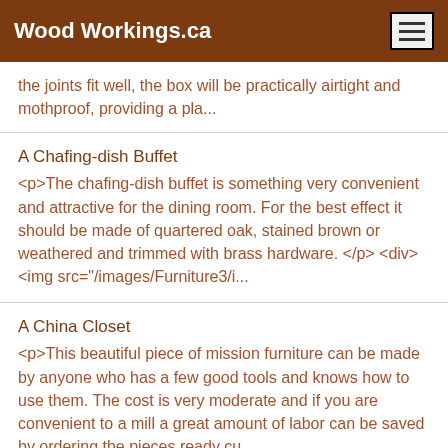Wood Workings.ca
the joints fit well, the box will be practically airtight and mothproof, providing a pla...
A Chafing-dish Buffet
<p>The chafing-dish buffet is something very convenient and attractive for the dining room. For the best effect it should be made of quartered oak, stained brown or weathered and trimmed with brass hardware. </p> <div> <img src="/images/Furniture3/i...
A China Closet
<p>This beautiful piece of mission furniture can be made by anyone who has a few good tools and knows how to use them. The cost is very moderate and if you are convenient to a mill a great amount of labor can be saved by ordering the pieces ready cu...
A Curved Back Arm Chair